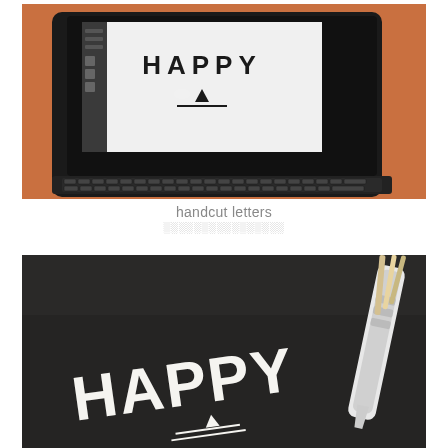[Figure (photo): Laptop screen displaying the word HAPPY in black capital letters with a triangle and line design on a white background, with a keyboard visible below, on an orange surface]
handcut letters
░░░░░░░░░░░░░░░░
[Figure (photo): Dark black paper with the word HAPPY cut out as negative space letters with triangle and line design, with a white craft knife/cutter tool placed diagonally on the right side]